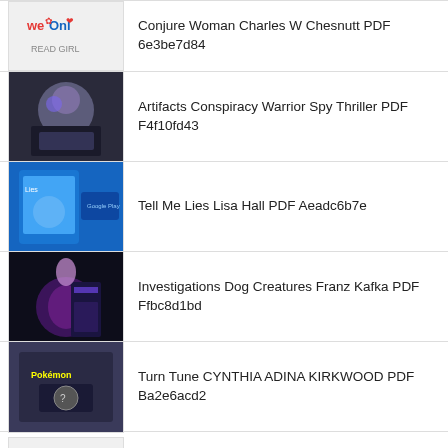Conjure Woman Charles W Chesnutt PDF 6e3be7d84
Artifacts Conspiracy Warrior Spy Thriller PDF F4f10fd43
Tell Me Lies Lisa Hall PDF Aeadc6b7e
Investigations Dog Creatures Franz Kafka PDF Ffbc8d1bd
Turn Tune CYNTHIA ADINA KIRKWOOD PDF Ba2e6acd2
High Ground Hugh Edward Johnson PDF 825007bf9